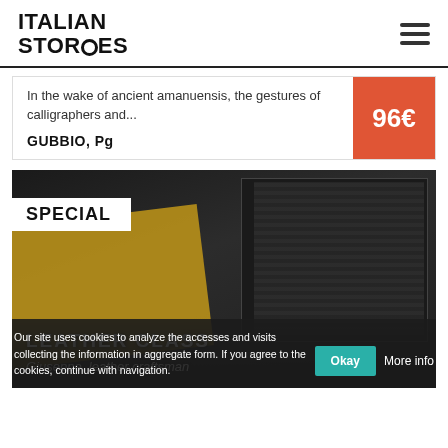ITALIAN STORIES
In the wake of ancient amanuensis, the gestures of calligraphers and...
96€
GUBBIO, Pg
[Figure (photo): Close-up photo of leather stamping tools and letter dies on dark background with a yellow leather piece]
SPECIAL
LEATHER CLASS
Giuseppe, leather craftsman
Our site uses cookies to analyze the accesses and visits collecting the information in aggregate form. If you agree to the cookies, continue with navigation.
Okay
More info